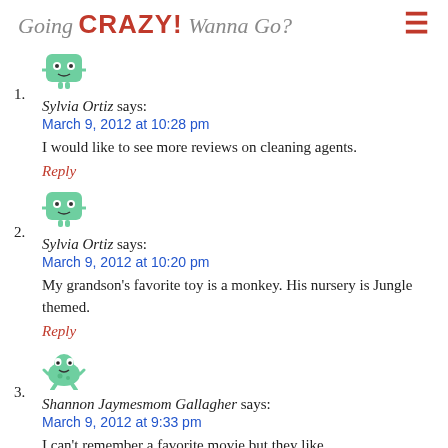Going CRAZY! Wanna Go?
1. Sylvia Ortiz says: March 9, 2012 at 10:28 pm — I would like to see more reviews on cleaning agents. Reply
2. Sylvia Ortiz says: March 9, 2012 at 10:20 pm — My grandson's favorite toy is a monkey. His nursery is Jungle themed. Reply
3. Shannon Jaymesmom Gallagher says: March 9, 2012 at 9:33 pm — I can't remember a favorite movie but they like